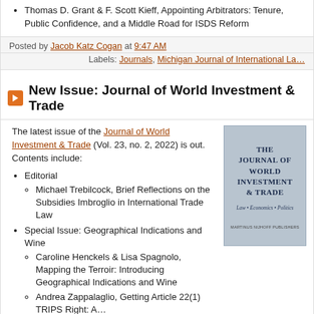Thomas D. Grant & F. Scott Kieff, Appointing Arbitrators: Tenure, Public Confidence, and a Middle Road for ISDS Reform
Posted by Jacob Katz Cogan at 9:47 AM
Labels: Journals, Michigan Journal of International La…
New Issue: Journal of World Investment & Trade
The latest issue of the Journal of World Investment & Trade (Vol. 23, no. 2, 2022) is out. Contents include:
Editorial
Michael Trebilcock, Brief Reflections on the Subsidies Imbroglio in International Trade Law
Special Issue: Geographical Indications and Wine
Caroline Henckels & Lisa Spagnolo, Mapping the Terroir: Introducing Geographical Indications and Wine
Andrea Zappalaglio, Getting Article 22(1) TRIPS Right: A…
[Figure (illustration): Cover of The Journal of World Investment & Trade, showing title text and subtitle 'Law • Economics • Politics', published by Martinus Nijhoff Publishers]